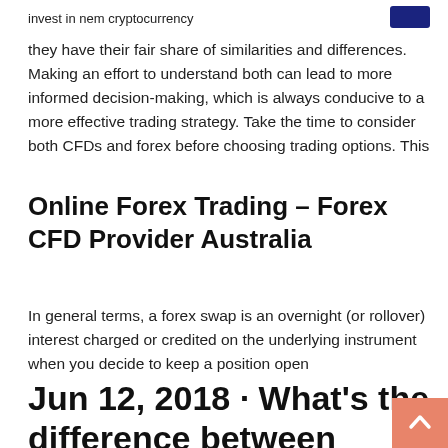invest in nem cryptocurrency
they have their fair share of similarities and differences. Making an effort to understand both can lead to more informed decision-making, which is always conducive to a more effective trading strategy. Take the time to consider both CFDs and forex before choosing trading options. This
Online Forex Trading – Forex CFD Provider Australia
In general terms, a forex swap is an overnight (or rollover) interest charged or credited on the underlying instrument when you decide to keep a position open
Jun 12, 2018 · What's the difference between CFDs and Forex? Learn about